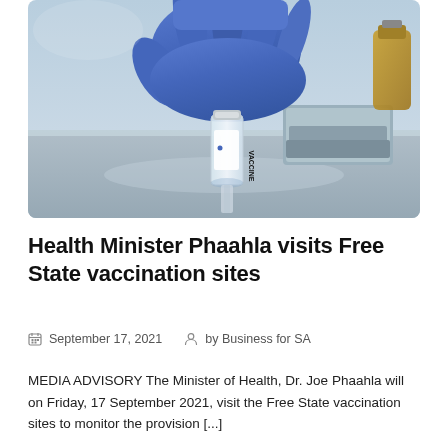[Figure (photo): A gloved hand in blue latex reaching for a small glass vaccine vial labeled 'VACCINE' on a stainless steel surface, with medical equipment in the background.]
Health Minister Phaahla visits Free State vaccination sites
September 17, 2021   by Business for SA
MEDIA ADVISORY The Minister of Health, Dr. Joe Phaahla will on Friday, 17 September 2021, visit the Free State vaccination sites to monitor the provision [...]